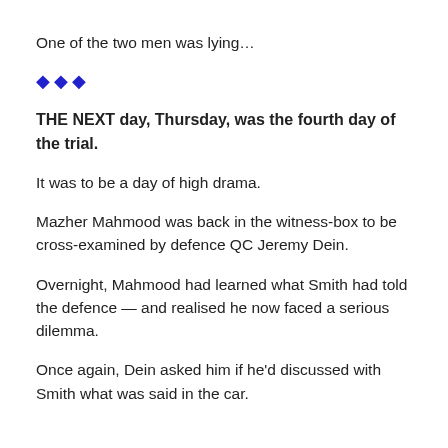One of the two men was lying…
[Figure (other): Three blue diamond decorative dividers]
THE NEXT day, Thursday, was the fourth day of the trial.
It was to be a day of high drama.
Mazher Mahmood was back in the witness-box to be cross-examined by defence QC Jeremy Dein.
Overnight, Mahmood had learned what Smith had told the defence — and realised he now faced a serious dilemma.
Once again, Dein asked him if he'd discussed with Smith what was said in the car.